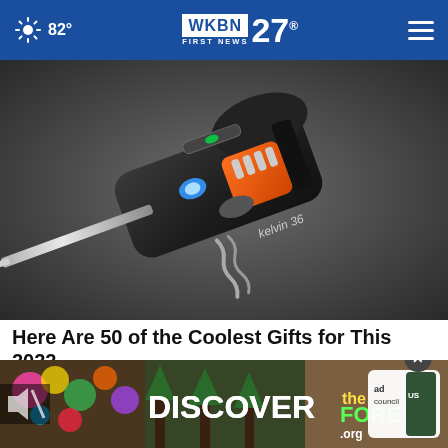82° WKBN FIRST NEWS 27
[Figure (photo): Multi-tool device (Kelvin 36) with screwdriver bits, flashlight, bottle opener, corkscrew, and level on a dark background]
Here Are 50 of the Coolest Gifts for This 2022
Smart Lifestyle Trends
[Figure (screenshot): Ad banner: DISCOVERtheFOREST.org with Ad Council and US Forest Service logos]